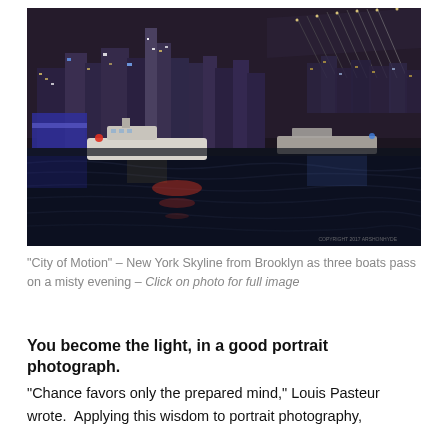[Figure (photo): Night photograph of New York City skyline viewed from Brooklyn, with the Brooklyn Bridge spanning the right side of the frame, bright city lights reflecting on the East River, and three boats passing on a misty evening. A white boat is prominent in the foreground.]
“City of Motion” – New York Skyline from Brooklyn as three boats pass on a misty evening – Click on photo for full image
You become the light, in a good portrait photograph.
“Chance favors only the prepared mind,” Louis Pasteur wrote.  Applying this wisdom to portrait photography,